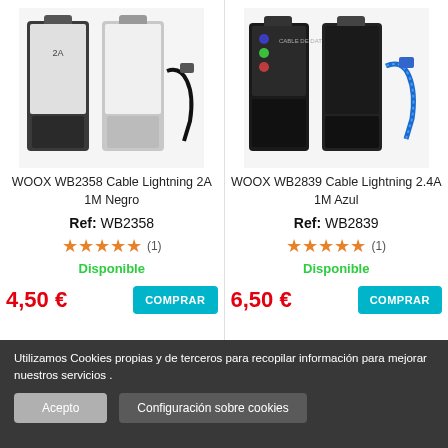[Figure (photo): Product image: WOOX WB2358 Cable Lightning 2A 1M Negro - two black cable packaging boxes and a black cable]
WOOX WB2358 Cable Lightning 2A 1M Negro
Ref: WB2358
★★★★★ (1)
Disponible
4,50 €
[Figure (photo): Product image: WOOX WB2839 Cable Lightning 2.4A 1M Azul - two dark packaging boxes and a blue braided cable]
WOOX WB2839 Cable Lightning 2.4A 1M Azul
Ref: WB2839
★★★★★ (1)
Disponible
6,50 €
Utilizamos Cookies propias y de terceros para recopilar información para mejorar nuestros servicios .
Acepto
Configuración sobre cookies